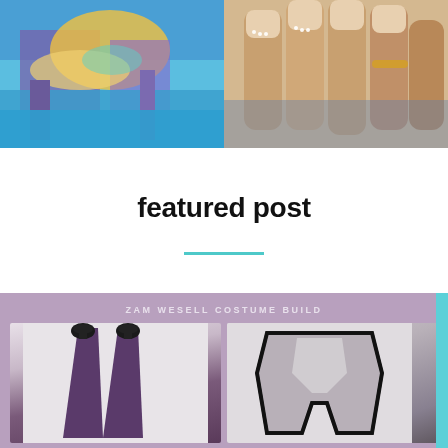[Figure (photo): Two side-by-side images at top: left shows a colorful illustrated theme park or fantasy scene with water and architectural structures in blues, purples, and golds; right shows a close-up of a hand with manicured nails featuring French tip style with pearl/diamond details on a denim background]
featured post
[Figure (photo): Blog post card with mauve/lavender background reading 'ZAM WESELL COSTUME BUILD' at top, showing two costume construction photos: left shows dark purple cone-shaped boot forms with black toe caps on a light background, right shows a grey/silver chest armor piece with black trim on white background]